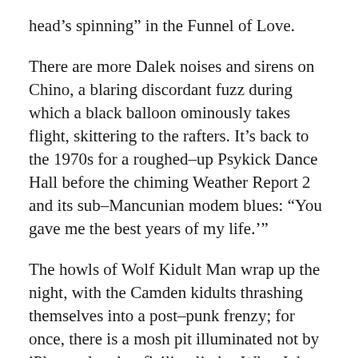head’s spinning” in the Funnel of Love.
There are more Dalek noises and sirens on Chino, a blaring discordant fuzz during which a black balloon ominously takes flight, skittering to the rafters. It’s back to the 1970s for a roughed-up Psykick Dance Hall before the chiming Weather Report 2 and its sub-Mancunian modem blues: “You gave me the best years of my life.’”
The howls of Wolf Kidult Man wrap up the night, with the Camden kidults thrashing themselves into a post-punk frenzy; for once, there is a mosh pit illuminated not by iPhone glow but flailing limbs. What John Peel said about The Fall (“always the same, always different”) may be said of the fans. Nato, hold fire, this is the United Emirates of MES.